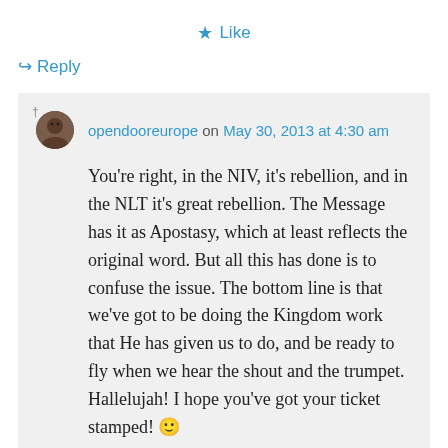★ Like
↪ Reply
opendooreurope on May 30, 2013 at 4:30 am
You're right, in the NIV, it's rebellion, and in the NLT it's great rebellion. The Message has it as Apostasy, which at least reflects the original word. But all this has done is to confuse the issue. The bottom line is that we've got to be doing the Kingdom work that He has given us to do, and be ready to fly when we hear the shout and the trumpet. Hallelujah! I hope you've got your ticket stamped! 🙂